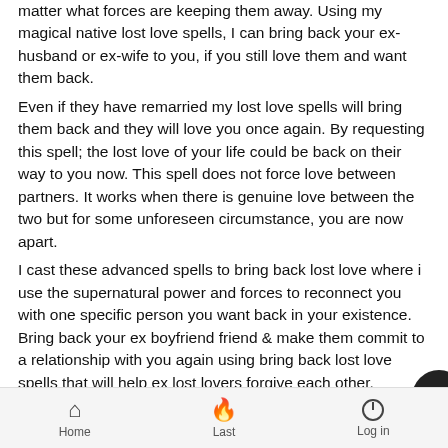matter what forces are keeping them away. Using my magical native lost love spells, I can bring back your ex-husband or ex-wife to you, if you still love them and want them back.
Even if they have remarried my lost love spells will bring them back and they will love you once again. By requesting this spell; the lost love of your life could be back on their way to you now. This spell does not force love between partners. It works when there is genuine love between the two but for some unforeseen circumstance, you are now apart.
I cast these advanced spells to bring back lost love where i use the supernatural power and forces to reconnect you with one specific person you want back in your existence. Bring back your ex boyfriend friend & make them commit to a relationship with you again using bring back lost love spells that will help ex lost lovers forgive each other.
Losing your loved one sometimes can be inevitable but the process of getting your ex love back to you can be extremely very hard. However, that doesn't mean that you cannot win your ex back any faster. Getting
Home   Last   Log in